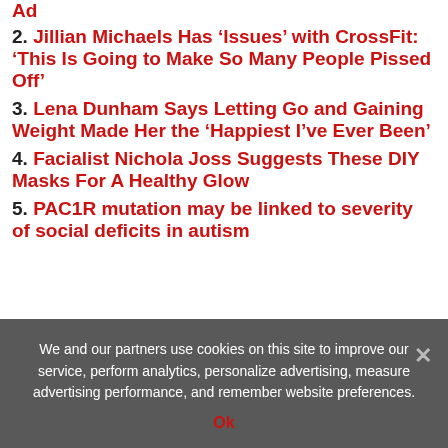Ad
2. Jillian Michaels Has ‘Issues’ with CrossFit: ‘This Is Going to Make So Many People Pissed Off’
3. Lena Dunham Says Letting Go and Gaining Weight Made Her the ‘Happiest I’ve Ever Been’
4. Facialist Nichola Joss Suggests These DIY Masks For A Healthy Glow
5. PAC1R mutation may be linked to severity of social deficits in autism
Jackie Abby’s Citra Brew Goes Heavy on Hops in a
We and our partners use cookies on this site to improve our service, perform analytics, personalize advertising, measure advertising performance, and remember website preferences.
Ok